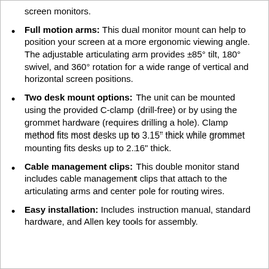screen monitors.
Full motion arms: This dual monitor mount can help to position your screen at a more ergonomic viewing angle. The adjustable articulating arm provides ±85° tilt, 180° swivel, and 360° rotation for a wide range of vertical and horizontal screen positions.
Two desk mount options: The unit can be mounted using the provided C-clamp (drill-free) or by using the grommet hardware (requires drilling a hole). Clamp method fits most desks up to 3.15" thick while grommet mounting fits desks up to 2.16" thick.
Cable management clips: This double monitor stand includes cable management clips that attach to the articulating arms and center pole for routing wires.
Easy installation: Includes instruction manual, standard hardware, and Allen key tools for assembly.